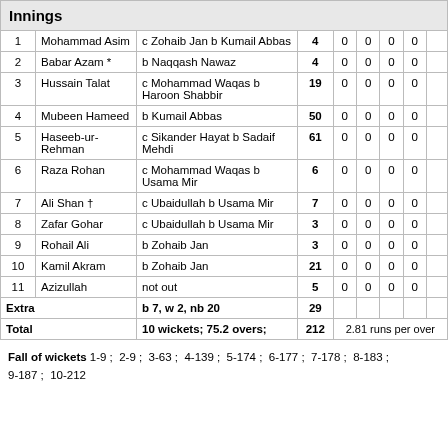Innings
| # | Batsman | Dismissal | R |  |  |  |  |
| --- | --- | --- | --- | --- | --- | --- | --- |
| 1 | Mohammad Asim | c Zohaib Jan b Kumail Abbas | 4 | 0 | 0 | 0 | 0 |
| 2 | Babar Azam * | b Naqqash Nawaz | 4 | 0 | 0 | 0 | 0 |
| 3 | Hussain Talat | c Mohammad Waqas b Haroon Shabbir | 19 | 0 | 0 | 0 | 0 |
| 4 | Mubeen Hameed | b Kumail Abbas | 50 | 0 | 0 | 0 | 0 |
| 5 | Haseeb-ur-Rehman | c Sikander Hayat b Sadaif Mehdi | 61 | 0 | 0 | 0 | 0 |
| 6 | Raza Rohan | c Mohammad Waqas b Usama Mir | 6 | 0 | 0 | 0 | 0 |
| 7 | Ali Shan † | c Ubaidullah b Usama Mir | 7 | 0 | 0 | 0 | 0 |
| 8 | Zafar Gohar | c Ubaidullah b Usama Mir | 3 | 0 | 0 | 0 | 0 |
| 9 | Rohail Ali | b Zohaib Jan | 3 | 0 | 0 | 0 | 0 |
| 10 | Kamil Akram | b Zohaib Jan | 21 | 0 | 0 | 0 | 0 |
| 11 | Azizullah | not out | 5 | 0 | 0 | 0 | 0 |
| Extra |  | b 7, w 2, nb 20 | 29 |  |  |  |  |
| Total |  | 10 wickets; 75.2 overs; | 212 | 2.81 runs per over |  |  |  |
Fall of wickets 1-9 ; 2-9 ; 3-63 ; 4-139 ; 5-174 ; 6-177 ; 7-178 ; 8-183 ; 9-187 ; 10-212